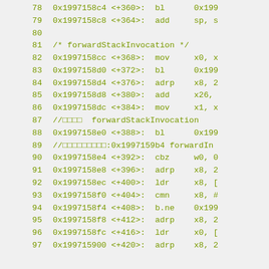78    0x1997158c4 <+360>:  bl     0x199...
79    0x1997158c8 <+364>:  add    sp, s...
80
81    /* forwardStackInvocation */
82    0x1997158cc <+368>:  mov    x0, x...
83    0x1997158d0 <+372>:  bl     0x199...
84    0x1997158d4 <+376>:  adrp   x8, 2...
85    0x1997158d8 <+380>:  add    x26, ...
86    0x1997158dc <+384>:  mov    x1, x...
87    //□□□□ forwardStackInvocation
88    0x1997158e0 <+388>:  bl     0x199...
89    //□□□□□□□□□:0x1997159b4 forwardIn...
90    0x1997158e4 <+392>:  cbz    w0, 0...
91    0x1997158e8 <+396>:  adrp   x8, 2...
92    0x1997158ec <+400>:  ldr    x8, [...
93    0x1997158f0 <+404>:  cmn    x8, #...
94    0x1997158f4 <+408>:  b.ne   0x199...
95    0x1997158f8 <+412>:  adrp   x8, 2...
96    0x1997158fc <+416>:  ldr    x0, [...
97    0x199715900 <+420>:  adrp   x8, 2...